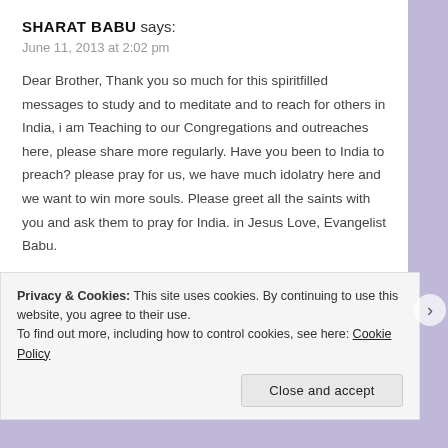SHARAT BABU says:
June 11, 2013 at 2:02 pm
Dear Brother, Thank you so much for this spiritfilled messages to study and to meditate and to reach for others in India, i am Teaching to our Congregations and outreaches here, please share more regularly. Have you been to India to preach? please pray for us, we have much idolatry here and we want to win more souls. Please greet all the saints with you and ask them to pray for India. in Jesus Love, Evangelist Babu.
Privacy & Cookies: This site uses cookies. By continuing to use this website, you agree to their use. To find out more, including how to control cookies, see here: Cookie Policy
Close and accept